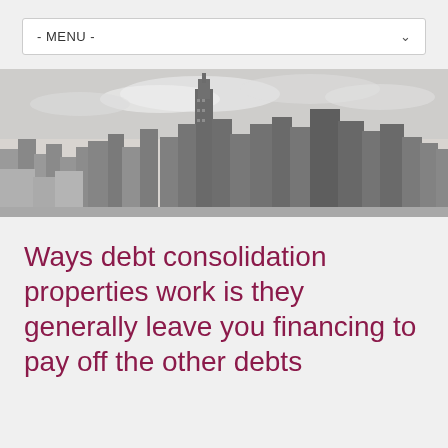- MENU -
[Figure (photo): Black and white aerial panoramic photograph of a city skyline with tall skyscrapers including what appears to be the Empire State Building in New York City, with cloudy sky above.]
Ways debt consolidation properties work is they generally leave you financing to pay off the other debts